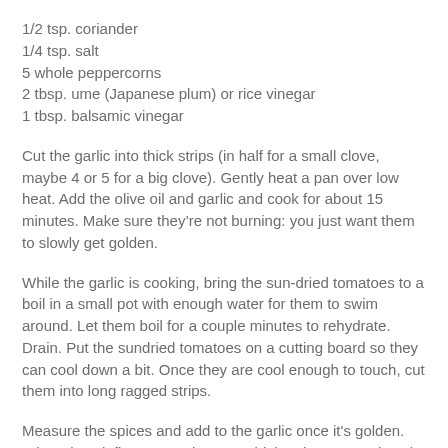1/2 tsp. coriander
1/4 tsp. salt
5 whole peppercorns
2 tbsp. ume (Japanese plum) or rice vinegar
1 tbsp. balsamic vinegar
Cut the garlic into thick strips (in half for a small clove, maybe 4 or 5 for a big clove). Gently heat a pan over low heat. Add the olive oil and garlic and cook for about 15 minutes. Make sure they’re not burning: you just want them to slowly get golden.
While the garlic is cooking, bring the sun-dried tomatoes to a boil in a small pot with enough water for them to swim around. Let them boil for a couple minutes to rehydrate. Drain. Put the sundried tomatoes on a cutting board so they can cool down a bit. Once they are cool enough to touch, cut them into long ragged strips.
Measure the spices and add to the garlic once it's golden. Stir and cook five more minutes. Add the vinegars and cook two more minutes. Stir in the cut sun-dried tomatoes. Serve